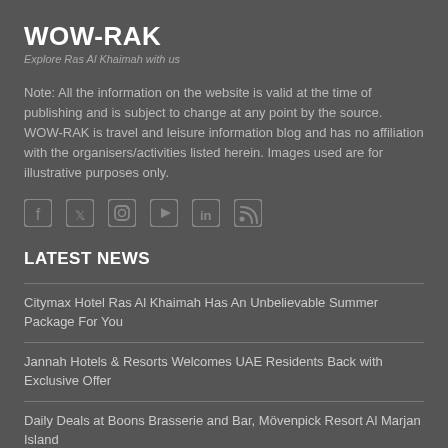WOW-RAK
Explore Ras Al Khaimah with us
Note: All the information on the website is valid at the time of publishing and is subject to change at any point by the source. WOW-RAK is travel and leisure information blog and has no affiliation with the organisers/activities listed herein. Images used are for illustrative purposes only.
[Figure (infographic): Row of 6 social media icons: Facebook, Twitter, Instagram, YouTube, LinkedIn, RSS]
LATEST NEWS
Citymax Hotel Ras Al Khaimah Has An Unbelievable Summer Package For You
Jannah Hotels & Resorts Welcomes UAE Residents Back with Exclusive Offer
Daily Deals at Boons Brasserie and Bar, Mövenpick Resort Al Marjan Island
Best Happy Hours in Ras Al Khaimah